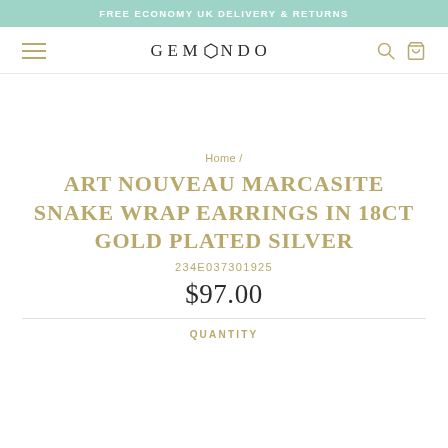FREE ECONOMY UK DELIVERY & RETURNS
[Figure (logo): Gemondo brand logo with hexagon O letter and hamburger menu, search and cart icons]
[Figure (photo): Product image area (white/blank)]
Home /
ART NOUVEAU MARCASITE SNAKE WRAP EARRINGS IN 18CT GOLD PLATED SILVER
234E037301925
$97.00
QUANTITY